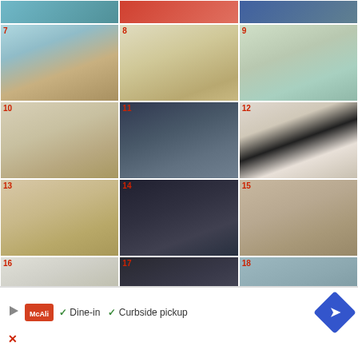[Figure (photo): A 4-row by 3-column grid of gift basket / gift idea photos numbered 7 through 18. Row 0 (partial): items 1-3 cropped. Row 1: #7 Christmas gift basket with lights, #8 party-themed gift spread with banner, #9 colorful gift items with numbers. Row 2: #10 wire basket with beauty/photo products, #11 dark cookbook/kitchen gift set, #12 striped-pattern spa gift set. Row 3: #13 wooden bucket gift basket, #14 dark yarn/craft gift bag, #15 Starbucks-themed wicker basket. Row 4: #16 white basket with instagram/photo gifts, #17 dark holiday gift collection, #18 grey bag with assorted gifts.]
[Figure (screenshot): Advertisement banner at the bottom showing a McAlisters restaurant ad with play icon, McAli logo, checkmarks for 'Dine-in' and 'Curbside pickup', a blue diamond arrow icon, and a red X close button.]